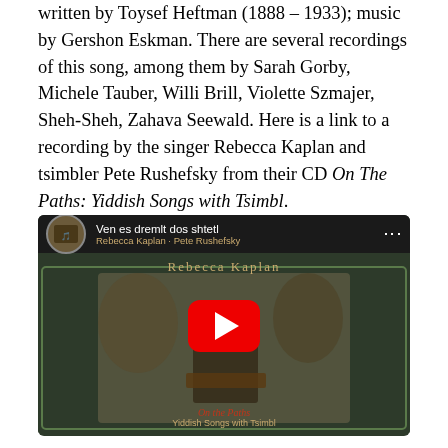written by Toysef Heftman (1888 – 1933); music by Gershon Eskman. There are several recordings of this song, among them by Sarah Gorby, Michele Tauber, Willi Brill, Violette Szmajer, Sheh-Sheh, Zahava Seewald. Here is a link to a recording by the singer Rebecca Kaplan and tsimbler Pete Rushefsky from their CD On The Paths: Yiddish Songs with Tsimbl.
[Figure (screenshot): YouTube video embed showing a video titled 'Ven es dremlt dos shtetl' with Hebrew subtitle text, featuring a man playing a tsimbl instrument. The video is from Rebecca Kaplan and Pete Rushefsky's CD 'On The Paths: Yiddish Songs with Tsimbl'. A red YouTube play button is centered on the thumbnail.]